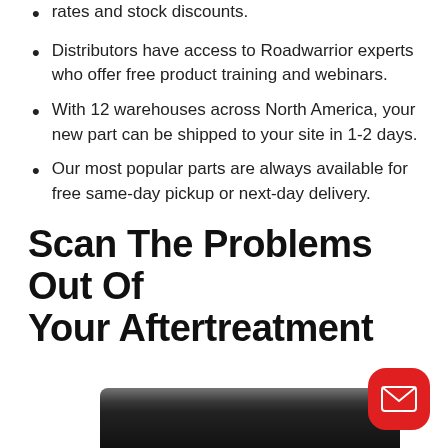rates and stock discounts.
Distributors have access to Roadwarrior experts who offer free product training and webinars.
With 12 warehouses across North America, your new part can be shipped to your site in 1-2 days.
Our most popular parts are always available for free same-day pickup or next-day delivery.
Scan The Problems Out Of Your Aftertreatment
[Figure (photo): A black automotive diagnostic scan tool device shown at the bottom of the page, with a red email/contact button overlay in the bottom-right corner.]